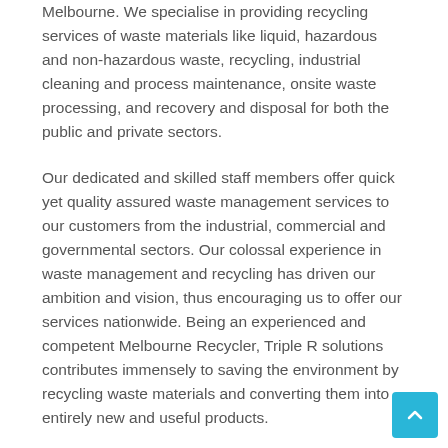Melbourne. We specialise in providing recycling services of waste materials like liquid, hazardous and non-hazardous waste, recycling, industrial cleaning and process maintenance, onsite waste processing, and recovery and disposal for both the public and private sectors.
Our dedicated and skilled staff members offer quick yet quality assured waste management services to our customers from the industrial, commercial and governmental sectors. Our colossal experience in waste management and recycling has driven our ambition and vision, thus encouraging us to offer our services nationwide. Being an experienced and competent Melbourne Recycler, Triple R solutions contributes immensely to saving the environment by recycling waste materials and converting them into entirely new and useful products.